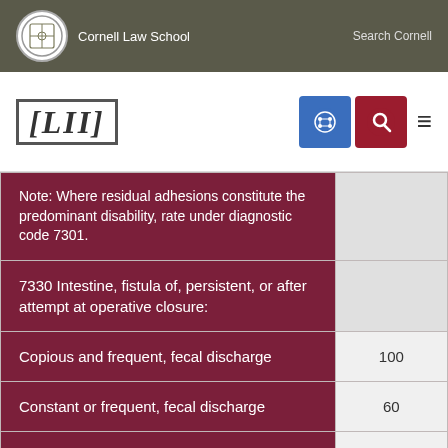Cornell Law School | Search Cornell
[Figure (logo): LII Legal Information Institute logo with navigation icons]
| Description | Rate |
| --- | --- |
| Note: Where residual adhesions constitute the predominant disability, rate under diagnostic code 7301. |  |
| 7330 Intestine, fistula of, persistent, or after attempt at operative closure: |  |
| Copious and frequent, fecal discharge | 100 |
| Constant or frequent, fecal discharge | 60 |
| Slight infrequent, fecal discharge | 30 |